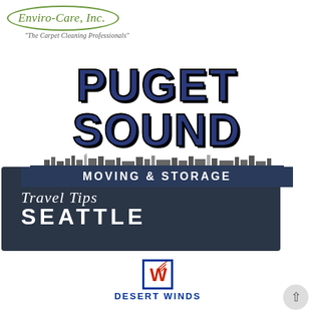[Figure (logo): Enviro-Care, Inc. logo — oval border in green with italic serif text, tagline 'The Carpet Cleaning Professionals']
[Figure (logo): Puget Sound Moving & Storage logo — large bold block letters in navy blue with black stroke, cityscape silhouette, dark navy banner below]
[Figure (logo): Travel Tips Seattle logo — dark navy background, script 'Travel Tips' above bold white uppercase 'SEATTLE']
[Figure (logo): Desert Winds Wireless logo — blue bordered box with red W and signal waves icon, navy 'DESERT WINDS' and red 'WIRELESS' text with dot separators]